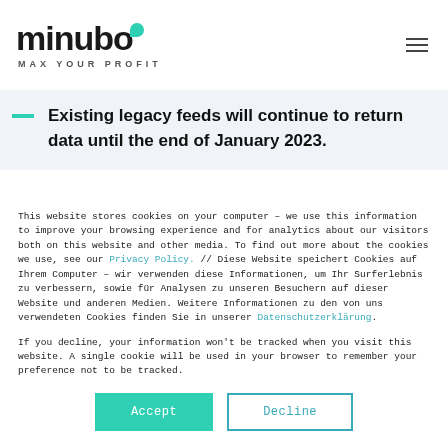[Figure (logo): minubo logo with teal accent dot and tagline MAX YOUR PROFIT]
Existing legacy feeds will continue to return data until the end of January 2023.
This website stores cookies on your computer – we use this information to improve your browsing experience and for analytics about our visitors both on this website and other media. To find out more about the cookies we use, see our Privacy Policy. // Diese Website speichert Cookies auf Ihrem Computer – wir verwenden diese Informationen, um Ihr Surferlebnis zu verbessern, sowie für Analysen zu unseren Besuchern auf dieser Website und anderen Medien. Weitere Informationen zu den von uns verwendeten Cookies finden Sie in unserer Datenschutzerklärung.
If you decline, your information won't be tracked when you visit this website. A single cookie will be used in your browser to remember your preference not to be tracked.
Accept | Decline